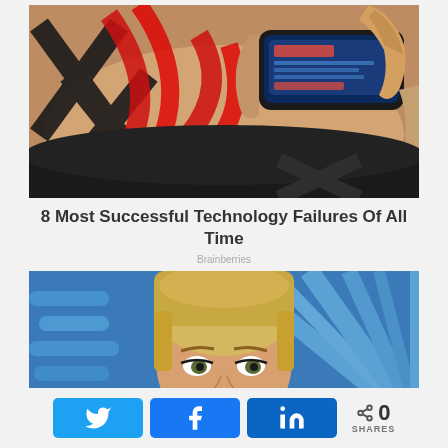[Figure (photo): A person's arm with a futuristic embedded touchscreen wearable device with red and black tattoo-like design, a finger pointing at the screen.]
8 Most Successful Technology Failures Of All Time
Brainberries
[Figure (photo): Close-up of a woman with short blonde hair and dramatic eye makeup, against a blue neon background.]
0 SHARES